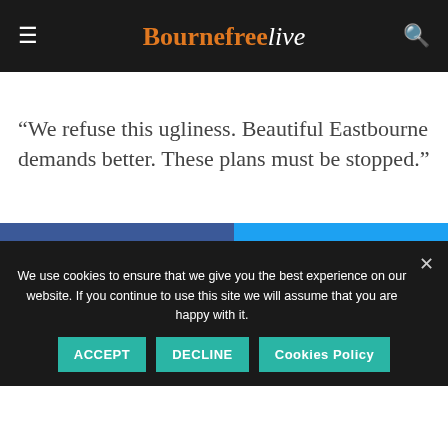Bournefreelive
“We refuse this ugliness. Beautiful Eastbourne demands better. These plans must be stopped.”
[Figure (other): Facebook share button (blue) and Twitter share button (light blue) side by side]
We use cookies to ensure that we give you the best experience on our website. If you continue to use this site we will assume that you are happy with it.